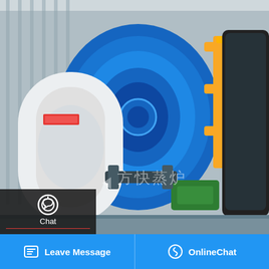[Figure (photo): Industrial biomass boiler equipment in a factory/warehouse setting. Blue cylindrical boilers with yellow pipes and fittings visible. Chinese watermark text '方快蒸炉' partially visible on image.]
Cheap Commercial 8t Biomass Condensing Boiler Turkmenistan
Cheap Commercial 8t Biomass Condensing Boiler Turkmenistan For Sale 8t gas steam boiler Commercial Indonesia Supplier Oil Steam Indonesia 10tons Industrial Supplier h waste heat in Indonesia - meubelstichtingnl oil gas fired steam and water tube textile factories steam 1t/h in Food
[Figure (screenshot): WhatsApp sticker save banner with purple/pink gradient background, phone icon and emoji icon buttons]
Leave Message   OnlineChat